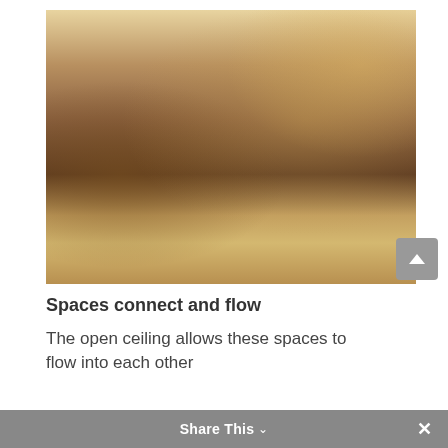[Figure (photo): Interior bedroom photo showing an open-plan space with hardwood floors, a large bed with floral bedding in the foreground, a bench with orange cushions, a wall-mounted TV, a bathtub area near windows, and dark curtains on the right side. Warm lighting from recessed ceiling lights.]
Spaces connect and flow
The open ceiling allows these spaces to flow into each other
Share This ∨  ×